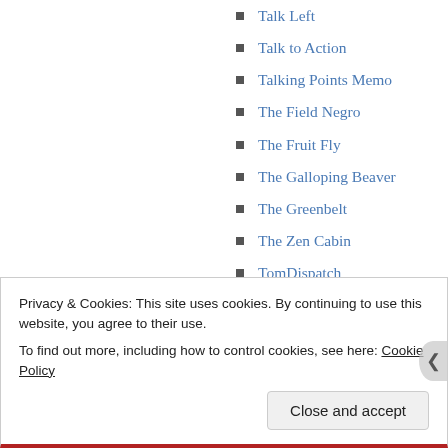Talk Left
Talk to Action
Talking Points Memo
The Field Negro
The Fruit Fly
The Galloping Beaver
The Greenbelt
The Zen Cabin
TomDispatch
TPMMuckraker
UnionMaine
Vagabond Scholar
Privacy & Cookies: This site uses cookies. By continuing to use this website, you agree to their use. To find out more, including how to control cookies, see here: Cookie Policy
Close and accept